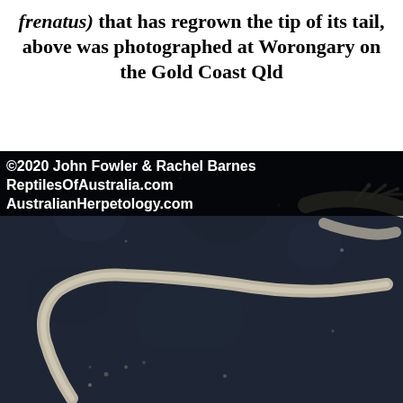frenatus) that has regrown the tip of its tail, above was photographed at Worongary on the Gold Coast Qld
[Figure (photo): Close-up photograph of a house gecko (Hemidactylus frenatus) on a dark surface, showing the regrown tail tip. The gecko's body and long tail curve across the dark blue-grey background. A partial gecko silhouette is visible in the upper right. Watermark text overlaid: ©2020 John Fowler & Rachel Barnes, ReptilesOfAustralia.com, AustralianHerpetology.com]